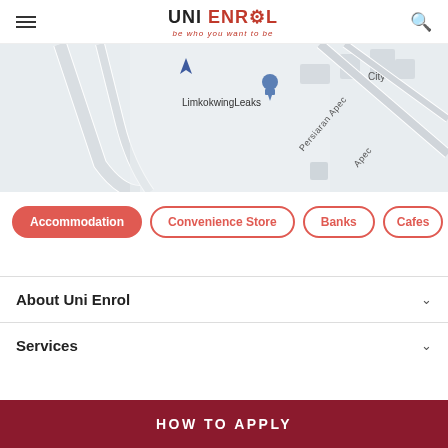UNI ENROL — be who you want to be
[Figure (map): Google Maps partial view showing Limkokwing University area with street names Persiaran Apec, Apec, and City visible. A blue map pin labeled LimkokwingLeaks is shown.]
Accommodation
Convenience Store
Banks
Cafes
About Uni Enrol
Services
HOW TO APPLY